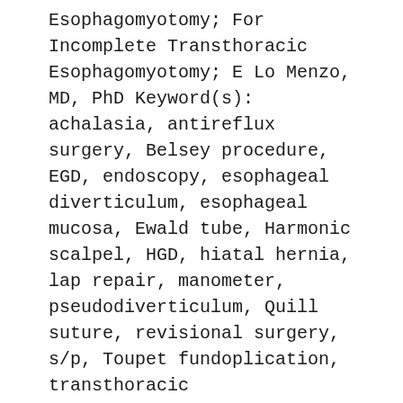Esophagomyotomy; For Incomplete Transthoracic Esophagomyotomy; E Lo Menzo, MD, PhD Keyword(s): achalasia, antireflux surgery, Belsey procedure, EGD, endoscopy, esophageal diverticulum, esophageal mucosa, Ewald tube, Harmonic scalpel, HGD, hiatal hernia, lap repair, manometer, pseudodiverticulum, Quill suture, revisional surgery, s/p, Toupet fundoplication, transthoracic esophagomytomy, ulceration
Posted on
10/08/2013
Video Categories
Bonus Videos, Foregut, SAGES 2013